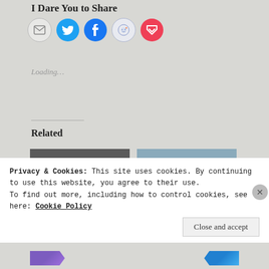I Dare You to Share
[Figure (infographic): Row of five social sharing icon circles: email (grey), Twitter (blue bird), Facebook (blue f), Reddit (light blue alien), Pocket (red pocket icon)]
Loading...
Related
[Figure (photo): Close-up photo of a Batman logo badge on a car grille, gold oval with black bat symbol]
[Figure (photo): Minimalist photo of a small Batman logo on a plain grey-blue background]
Privacy & Cookies: This site uses cookies. By continuing to use this website, you agree to their use.
To find out more, including how to control cookies, see here: Cookie Policy
Close and accept